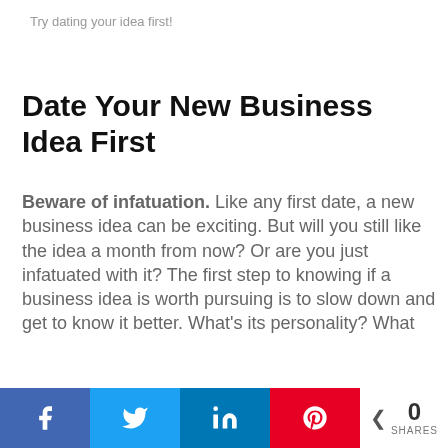Try dating your idea first!
Date Your New Business Idea First
Beware of infatuation. Like any first date, a new business idea can be exciting. But will you still like the idea a month from now? Or are you just infatuated with it? The first step to knowing if a business idea is worth pursuing is to slow down and get to know it better. What's its personality? What